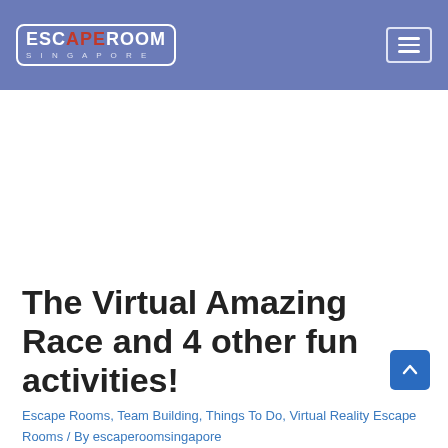ESCAPE ROOM SINGAPORE
[Figure (screenshot): Advertisement or blank content area]
The Virtual Amazing Race and 4 other fun activities!
Escape Rooms, Team Building, Things To Do, Virtual Reality Escape Rooms / By escaperoomsingapore